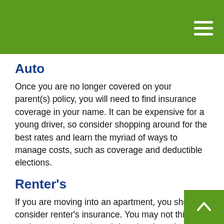Auto
Once you are no longer covered on your parent(s) policy, you will need to find insurance coverage in your name. It can be expensive for a young driver, so consider shopping around for the best rates and learn the myriad of ways to manage costs, such as coverage and deductible elections.
Renter's
If you are moving into an apartment, you should consider renter's insurance. You may not think you've accumulated much in value, but when you calculate the cost of replacing your computer, electronic equipment, HD-TV, your clothes, etc., it can run into thousands of dollars. Renter's insurance can be inexpensive. When shopping for a policy, ask about whether it includes liability coverage, which can protect you in the event of being sued